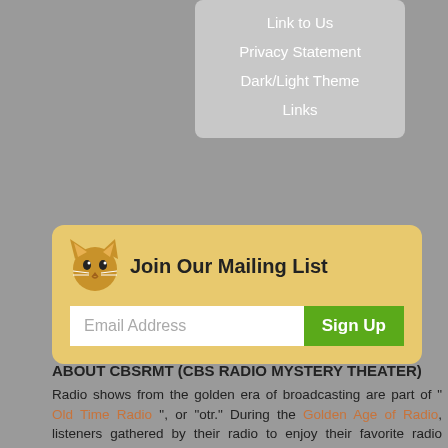Link to Us
Privacy Statement
Dark/Light Theme
Links
[Figure (infographic): Mailing list signup box with golden/yellow background, cat icon, 'Join Our Mailing List' heading, email input field and green Sign Up button]
ABOUT CBSRMT (CBS RADIO MYSTERY THEATER)
Radio shows from the golden era of broadcasting are part of " Old Time Radio ", or "otr." During the Golden Age of Radio, listeners gathered by their radio to enjoy their favorite radio programs. Radio Mystery Theater (1974-82) was a resurgence of the nostalgia of those radio days.
LISTEN TO RADIO MYSTERY THEATER
Those who experienced the old time radio will enjoy listening to these programs for nostalgia, but a new generation of listeners and fans are discovering CBSRMT